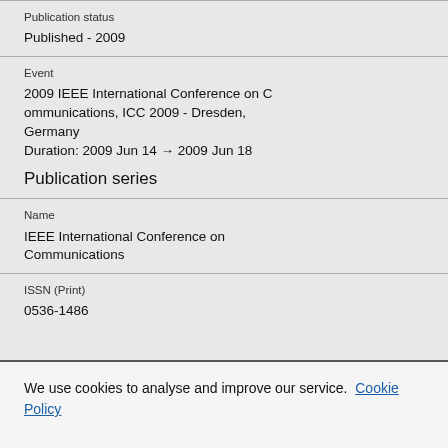Publication status
Published - 2009
Event
2009 IEEE International Conference on Communications, ICC 2009 - Dresden, Germany
Duration: 2009 Jun 14 → 2009 Jun 18
Publication series
Name
IEEE International Conference on Communications
ISSN (Print)
0536-1486
We use cookies to analyse and improve our service. Cookie Policy